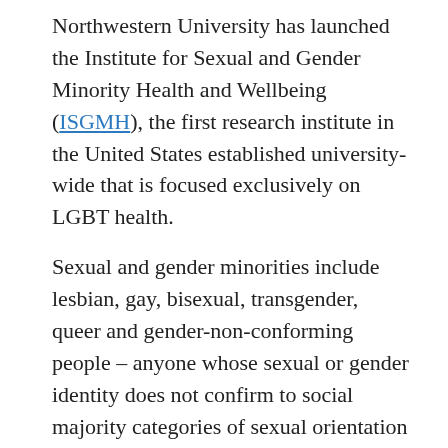Northwestern University has launched the Institute for Sexual and Gender Minority Health and Wellbeing (ISGMH), the first research institute in the United States established university-wide that is focused exclusively on LGBT health.
Sexual and gender minorities include lesbian, gay, bisexual, transgender, queer and gender-non-conforming people – anyone whose sexual or gender identity does not confirm to social majority categories of sexual orientation and gender.
“This new institute represents Northwestern and Feinberg’s commitment to support breakthrough research that improves the lives of LGBT people